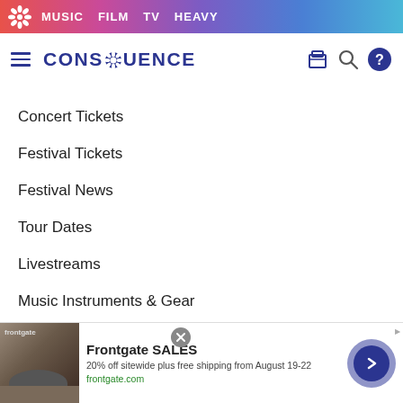MUSIC  FILM  TV  HEAVY
[Figure (screenshot): Consequence of Sound website navigation header with logo and icons]
Concert Tickets
Festival Tickets
Festival News
Tour Dates
Livestreams
Music Instruments & Gear
Heavy
News
[Figure (screenshot): Frontgate SALES advertisement banner: 20% off sitewide plus free shipping from August 19-22, frontgate.com]